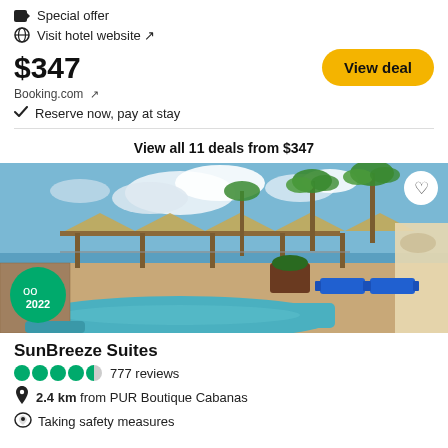Special offer
Visit hotel website ↗
$347
Booking.com ↗
Reserve now, pay at stay
View all 11 deals from $347
[Figure (photo): Hotel pool area with blue lounge chairs, wooden pergola structures, palm trees, ocean view in background, blue sky with clouds. TripAdvisor 2022 badge in bottom left corner. Heart/save button in top right corner.]
SunBreeze Suites
777 reviews
2.4 km from PUR Boutique Cabanas
Taking safety measures